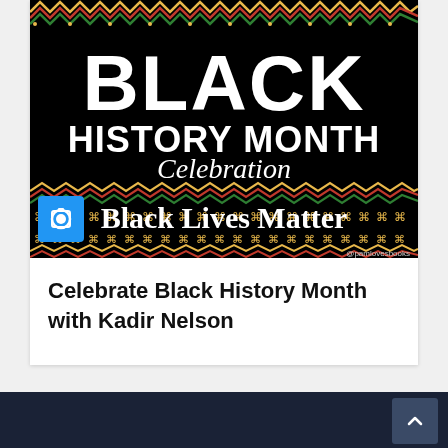[Figure (illustration): Black History Month Celebration graphic on black background with large white bold text reading 'BLACK HISTORY MONTH Celebration Black Lives Matter', decorated with African Kente-style zigzag patterns in red, green, yellow/gold colors, and repeating motif border rows. Attribution '@pamlovesbooks' in bottom right.]
Celebrate Black History Month with Kadir Nelson